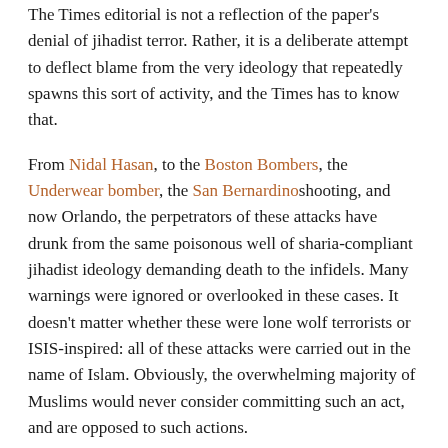The Times editorial is not a reflection of the paper's denial of jihadist terror. Rather, it is a deliberate attempt to deflect blame from the very ideology that repeatedly spawns this sort of activity, and the Times has to know that.
From Nidal Hasan, to the Boston Bombers, the Underwear bomber, the San Bernardino shooting, and now Orlando, the perpetrators of these attacks have drunk from the same poisonous well of sharia-compliant jihadist ideology demanding death to the infidels. Many warnings were ignored or overlooked in these cases. It doesn't matter whether these were lone wolf terrorists or ISIS-inspired: all of these attacks were carried out in the name of Islam. Obviously, the overwhelming majority of Muslims would never consider committing such an act, and are opposed to such actions.
But it is ludicrous to claim that these attacks have little or nothing to do with Islam, or come from a bastardization of that faith. After all, Islamic State leader Abu Bakr al-Baghdadi has a Ph.D. in Koranic studies from Iraq's Saddam University for Islamic Studies. These attacks clearly originated from a jihadist